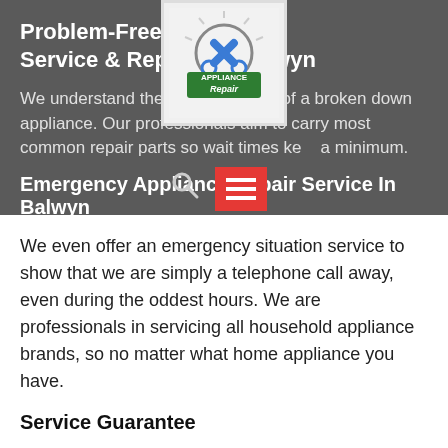Problem-Free Appliance Service & Repairs In Balwyn
[Figure (logo): Appliance Repair logo with wrench icons and text]
We understand the inconvenience of a broken down appliance. Our professionals aim to carry most common repair parts so wait times kept to a minimum.
Emergency Appliance Repair Service In Balwyn
We even offer an emergency situation service to show that we are simply a telephone call away, even during the oddest hours. We are professionals in servicing all household appliance brands, so no matter what home appliance you have.
Service Guarantee
[Figure (infographic): Green footer bar with CALL NOW button and phone icon, and red back-to-top arrow button]